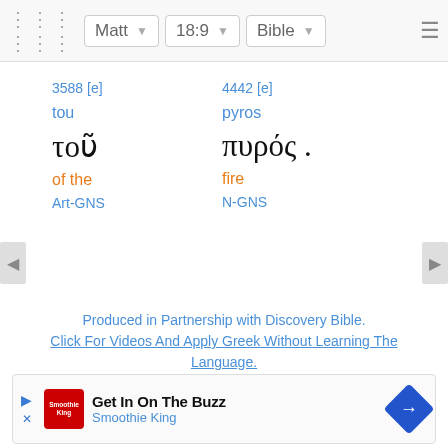Matt  18:9  Bible
|  |  |
| --- | --- |
| 3588 [e] | 4442 [e] |
| tou | pyros |
| τοῦ | πυρός . |
| of the | fire |
| Art-GNS | N-GNS |
Produced in Partnership with Discovery Bible.
Click For Videos And Apply Greek Without Learning The Language.
[Figure (logo): Red circular logo with ~! symbol]
Nestle 1904 + {TR} ⧼RP⧽ (WH) ⧼NE⧽ [NA] ‹SBL›
[Figure (infographic): Advertisement: Get In On The Buzz - Smoothie King with play and close buttons and navigation arrow]